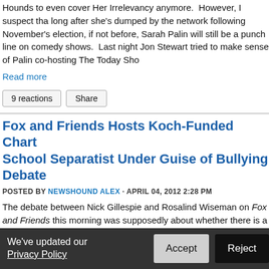Hounds to even cover Her Irrelevancy anymore. However, I suspect that long after she's dumped by the network following November's election, if not before, Sarah Palin will still be a punch line on comedy shows. Last night Jon Stewart tried to make sense of Palin co-hosting The Today Sho
Read more
9 reactions  Share
Fox and Friends Hosts Koch-Funded Chart School Separatist Under Guise of Bullying Debate
POSTED BY NEWSHOUND ALEX · APRIL 04, 2012 2:28 PM
The debate between Nick Gillespie and Rosalind Wiseman on Fox and Friends this morning was supposedly about whether there is a bullying crisis in the United States. But was Nick Gillespie, of the Koch-funded
We've updated our Privacy Policy   Accept   Reject